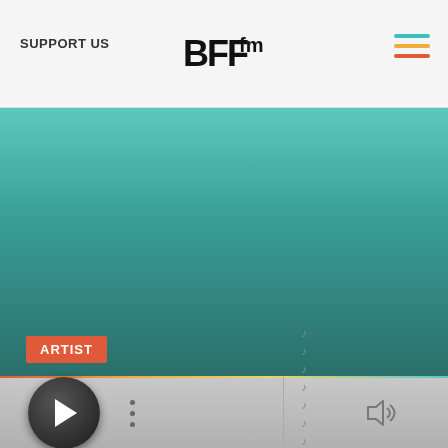SUPPORT US
[Figure (logo): BFF.fm logo in black stylized text]
[Figure (illustration): Hamburger menu icon with three horizontal lines in teal, yellow, and red/orange colors]
[Figure (photo): Large teal-to-dark-teal gradient background image filling the main content area]
ARTIST
[Figure (screenshot): Media player bar with play button, three-dot menu, track info text, and volume icon on a gray gradient background]